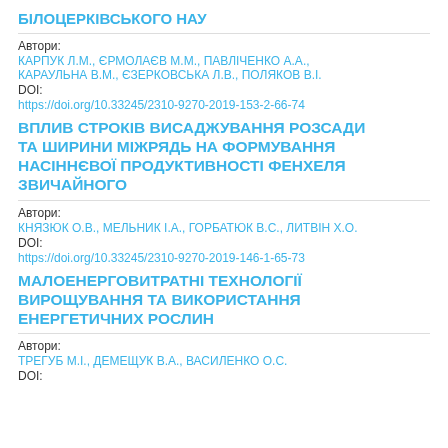БІЛОЦЕРКІВСЬКОГО НАУ
Автори:
КАРПУК Л.М., ЄРМОЛАЄВ М.М., ПАВЛІЧЕНКО А.А., КАРАУЛЬНА В.М., ЄЗЕРКОВСЬКА Л.В., ПОЛЯКОВ В.І.
DOI:
https://doi.org/10.33245/2310-9270-2019-153-2-66-74
ВПЛИВ СТРОКІВ ВИСАДЖУВАННЯ РОЗСАДИ ТА ШИРИНИ МІЖРЯДЬ НА ФОРМУВАННЯ НАСІННЄВОЇ ПРОДУКТИВНОСТІ ФЕНХЕЛЯ ЗВИЧАЙНОГО
Автори:
КНЯЗЮК О.В., МЕЛЬНИК І.А., ГОРБАТЮК В.С., ЛИТВІН Х.О.
DOI:
https://doi.org/10.33245/2310-9270-2019-146-1-65-73
МАЛОЕНЕРГОВИТРАТНІ ТЕХНОЛОГІЇ ВИРОЩУВАННЯ ТА ВИКОРИСТАННЯ ЕНЕРГЕТИЧНИХ РОСЛИН
Автори:
ТРЕГУБ М.І., ДЕМЕЩУК В.А., ВАСИЛЕНКО О.С.
DOI: